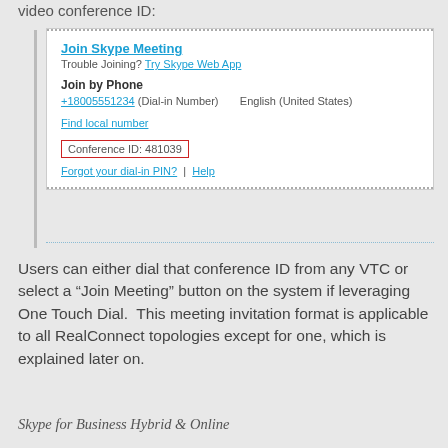video conference ID:
[Figure (screenshot): Skype meeting invitation box showing: Join Skype Meeting link, Trouble Joining? Try Skype Web App link, Join by Phone section with +18005551234 (Dial-in Number) English (United States), Find local number link, Conference ID: 481039 (highlighted in red box), Forgot your dial-in PIN? | Help links. Box bordered top and bottom with dotted lines.]
Users can either dial that conference ID from any VTC or select a “Join Meeting” button on the system if leveraging One Touch Dial.  This meeting invitation format is applicable to all RealConnect topologies except for one, which is explained later on.
Skype for Business Hybrid & Online